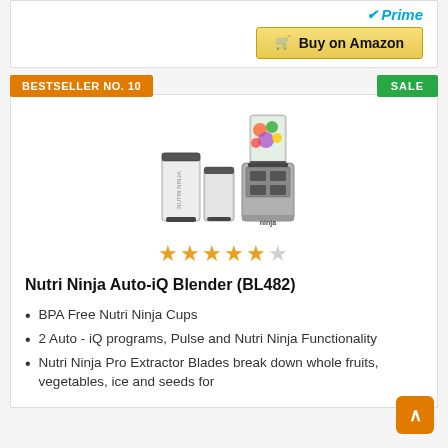[Figure (screenshot): Amazon Prime logo with checkmark and 'Buy on Amazon' button with cart icon]
BESTSELLER NO. 10
SALE
[Figure (photo): Nutri Ninja Auto-iQ Blender (BL482) product photo showing blender base with cups and blending container with fruits]
[Figure (other): 4.5 out of 5 stars rating]
Nutri Ninja Auto-iQ Blender (BL482)
BPA Free Nutri Ninja Cups
2 Auto - iQ programs, Pulse and Nutri Ninja Functionality
Nutri Ninja Pro Extractor Blades break down whole fruits, vegetables, ice and seeds for